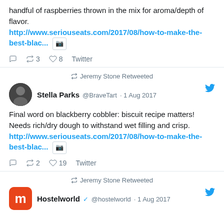handful of raspberries thrown in the mix for aroma/depth of flavor. http://www.seriouseats.com/2017/08/how-to-make-the-best-blac... [image]
Reply  Retweet 3  Like 8  Twitter
Jeremy Stone Retweeted
Stella Parks @BraveTart · 1 Aug 2017
Final word on blackberry cobbler: biscuit recipe matters! Needs rich/dry dough to withstand wet filling and crisp. http://www.seriouseats.com/2017/08/how-to-make-the-best-blac... [image]
Reply  Retweet 2  Like 19  Twitter
Jeremy Stone Retweeted
Hostelworld @hostelworld · 1 Aug 2017